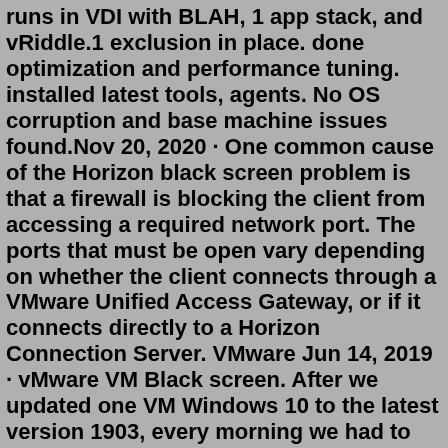runs in VDI with BLAH, 1 app stack, and vRiddle.1 exclusion in place. done optimization and performance tuning. installed latest tools, agents. No OS corruption and base machine issues found.Nov 20, 2020 · One common cause of the Horizon black screen problem is that a firewall is blocking the client from accessing a required network port. The ports that must be open vary depending on whether the client connects through a VMware Unified Access Gateway, or if it connects directly to a Horizon Connection Server. VMware Jun 14, 2019 · vMware VM Black screen. After we updated one VM Windows 10 to the latest version 1903, every morning we had to restore the VM of 10 days back to get it working. the issue is Windows 10 is not responding, when we log in to the ESXI see just black screen, even we reboot the Windows / Power off its tries to boot but after we see just black screen. May 06, 2021 · Horizon desktop displays black screen until space bar pressed (83500) Symptoms When running Windows 1809 and Horizon 7.13 with Nvidia hardware video, users log into their